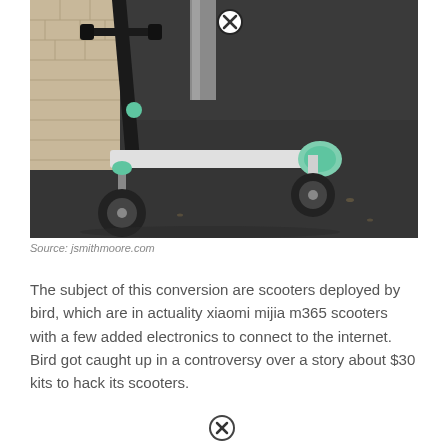[Figure (photo): An electric scooter (Lime/Bird brand, white and black with green accents) parked on a dark asphalt surface next to a brick wall and a metal pole. The scooter is leaning, showing its deck and front wheel. A close/delete icon (circle-X) appears in the upper center of the image.]
Source: jsmithmoore.com
The subject of this conversion are scooters deployed by bird, which are in actuality xiaomi mijia m365 scooters with a few added electronics to connect to the internet. Bird got caught up in a controversy over a story about $30 kits to hack its scooters.